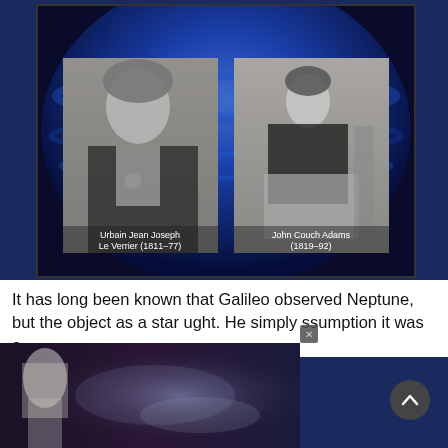[Figure (photo): Composite image showing Neptune (large blue planet) in background with two historical black-and-white portrait photographs overlaid: left photo captioned 'Urbain Jean Joseph Le Verrier (1811-77)', right photo captioned 'John Couch Adams (1819-92)']
It has long been known that Galileo observed Neptune, but the object as a star ught. He simply ssumption it was a
[Figure (photo): Advertisement overlay image showing a woman with long blonde hair with ghostly/ethereal imagery, captioned 'ALIENS TELL ABOUT ETERNAL LIFE']